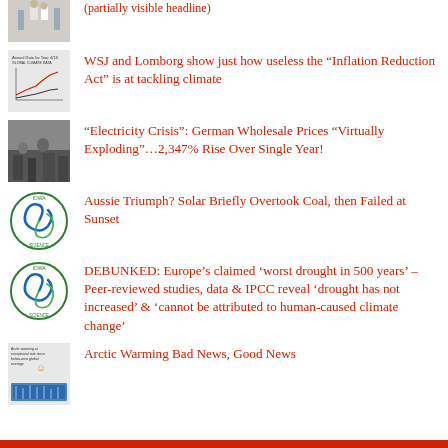(partially visible headline at top)
WSJ and Lomborg show just how useless the “Inflation Reduction Act” is at tackling climate
“Electricity Crisis”: German Wholesale Prices “Virtually Exploding”…2,347% Rise Over Single Year!
Aussie Triumph? Solar Briefly Overtook Coal, then Failed at Sunset
DEBUNKED: Europe’s claimed ‘worst drought in 500 years’ – Peer-reviewed studies, data & IPCC reveal ‘drought has not increased’ & ‘cannot be attributed to human-caused climate change’
Arctic Warming Bad News, Good News